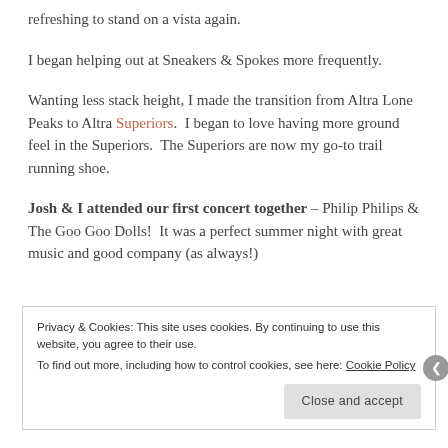refreshing to stand on a vista again.
I began helping out at Sneakers & Spokes more frequently.
Wanting less stack height, I made the transition from Altra Lone Peaks to Altra Superiors.  I began to love having more ground feel in the Superiors.  The Superiors are now my go-to trail running shoe.
Josh & I attended our first concert together – Philip Philips & The Goo Goo Dolls!  It was a perfect summer night with great music and good company (as always!)
Privacy & Cookies: This site uses cookies. By continuing to use this website, you agree to their use.
To find out more, including how to control cookies, see here: Cookie Policy
Close and accept